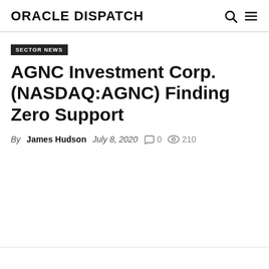ORACLE DISPATCH
SECTOR NEWS
AGNC Investment Corp. (NASDAQ:AGNC) Finding Zero Support
By James Hudson  July 8, 2020  0  210